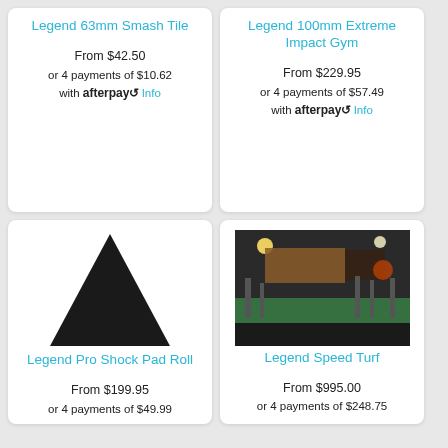Legend 63mm Smash Tile
From $42.50
or 4 payments of $10.62
with afterpay Info
Legend 100mm Extreme Impact Gym
From $229.95
or 4 payments of $57.49
with afterpay Info
[Figure (illustration): Black triangular wedge shape (shock pad roll product image)]
Legend Pro Shock Pad Roll
From $199.95
or 4 payments of $49.99
[Figure (photo): Interior photo of a large gym facility with green turf, black rubber flooring, and exercise equipment]
Legend Speed Turf
From $995.00
or 4 payments of $248.75